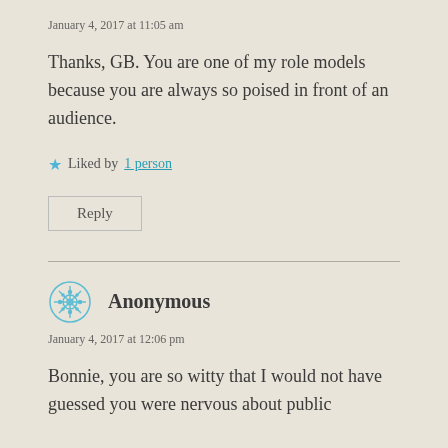January 4, 2017 at 11:05 am
Thanks, GB. You are one of my role models because you are always so poised in front of an audience.
★ Liked by 1 person
Reply
Anonymous
January 4, 2017 at 12:06 pm
Bonnie, you are so witty that I would not have guessed you were nervous about public speaking. To say you are is an outside...